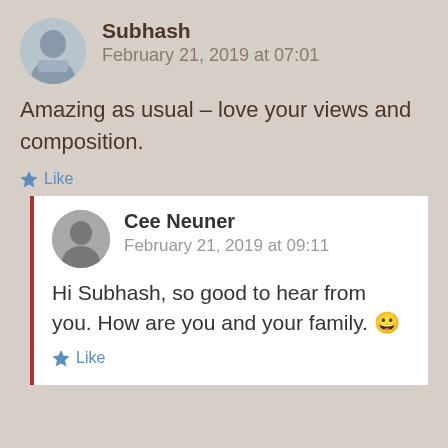Subhash
February 21, 2019 at 07:01
Amazing as usual – love your views and composition.
Like
Cee Neuner
February 21, 2019 at 09:11
Hi Subhash, so good to hear from you. How are you and your family. 😀
Like